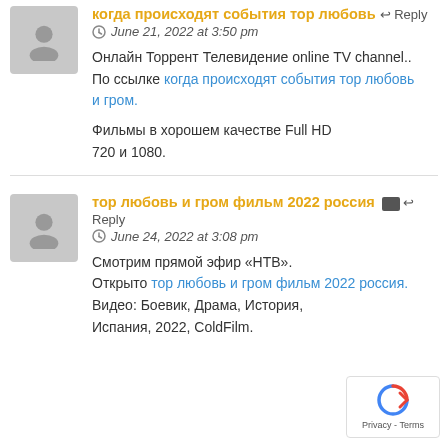когда происходят события тор любовь и гром Reply
June 21, 2022 at 3:50 pm
Онлайн Торрент Телевидение online TV channel.. По ссылке когда происходят события тор любовь и гром.
Фильмы в хорошем качестве Full HD 720 и 1080.
тор любовь и гром фильм 2022 россия Reply
June 24, 2022 at 3:08 pm
Смотрим прямой эфир «НТВ». Открыто тор любовь и гром фильм 2022 россия. Видео: Боевик, Драма, История, Испания, 2022, ColdFilm.